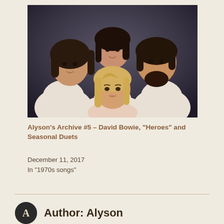[Figure (photo): Portrait photo of four people (a music group), three with dark hair and one blonde woman in front, all wearing white, posed against a dark background]
Alyson's Archive #5 – David Bowie, “Heroes” and Seasonal Duets
December 11, 2017
In "1970s songs"
Author: Alyson